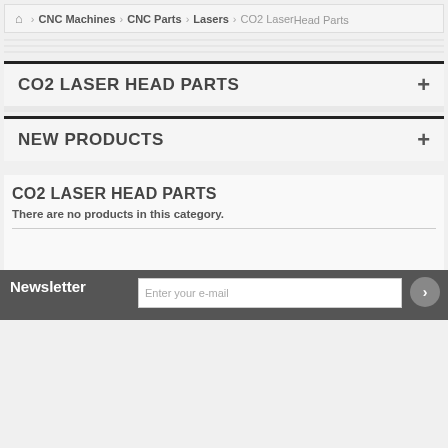🏠 > CNC Machines > CNC Parts > Lasers > CO2 Laser Head Parts
CO2 LASER HEAD PARTS
NEW PRODUCTS
CO2 LASER HEAD PARTS
There are no products in this category.
Newsletter  Enter your e-mail